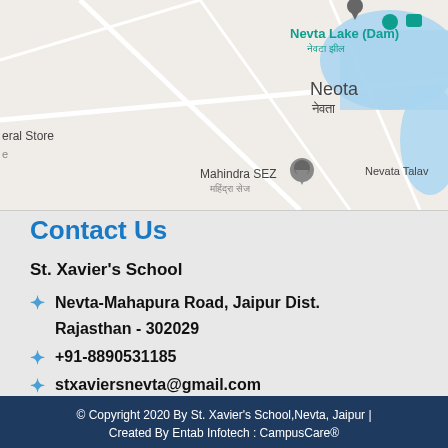[Figure (map): Google Maps screenshot showing Nevta Lake (Dam), Neota area, Mahindra SEZ location marker, Nevata Talav water body, and partial text 'eral Store' on left edge]
Contact Us
St. Xavier's School
Nevta-Mahapura Road, Jaipur Dist.
Rajasthan - 302029
+91-8890531185
stxaviersnevta@gmail.com
Download Route Map
© Copyright 2020 By St. Xavier's School,Nevta, Jaipur | Created By Entab Infotech : CampusCare®